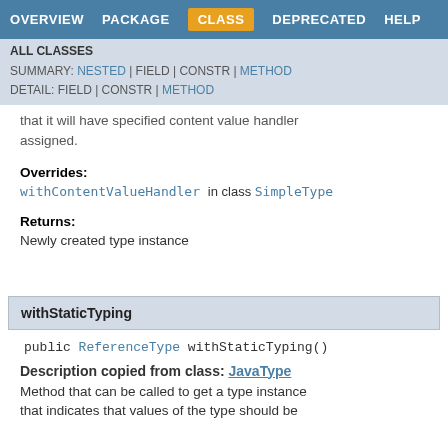OVERVIEW | PACKAGE | CLASS | DEPRECATED | HELP
ALL CLASSES
SUMMARY: NESTED | FIELD | CONSTR | METHOD
DETAIL: FIELD | CONSTR | METHOD
that it will have specified content value handler assigned.
Overrides:
withContentValueHandler in class SimpleType
Returns:
Newly created type instance
withStaticTyping
public ReferenceType withStaticTyping()
Description copied from class: JavaType
Method that can be called to get a type instance that indicates that values of the type should be